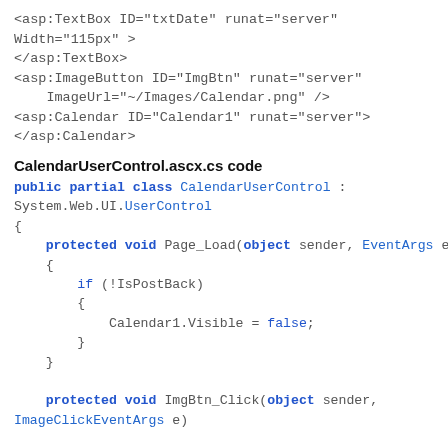<asp:TextBox ID="txtDate" runat="server" Width="115px" >
</asp:TextBox>
<asp:ImageButton ID="ImgBtn" runat="server"
    ImageUrl="~/Images/Calendar.png"
onclick="ImgBtn_Click" />
<asp:Calendar ID="Calendar1" runat="server"
onselectionchanged="Calendar1_SelectionChanged">
</asp:Calendar>
CalendarUserControl.ascx.cs code
public partial class CalendarUserControl : System.Web.UI.UserControl
{
    protected void Page_Load(object sender, EventArgs e)
    {
        if (!IsPostBack)
        {
            Calendar1.Visible = false;
        }
    }

    protected void ImgBtn_Click(object sender,
ImageClickEventArgs e)